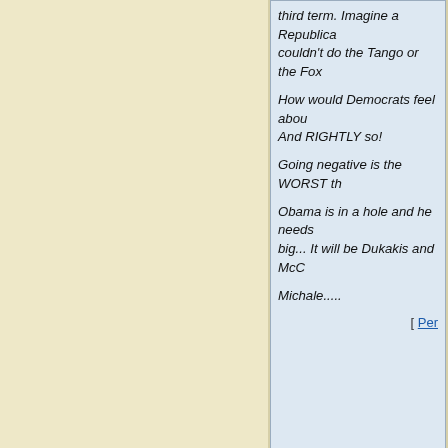third term. Imagine a Republican who couldn't do the Tango or the Fox...
How would Democrats feel about... And RIGHTLY so!
Going negative is the WORST th...
Obama is in a hole and he needs... big... It will be Dukakis and McC...
Michale.....
[ Per...
[17] Michale wrote:
And, of course, there are stateme...
“You want to know the honest... a B-list sex movie,”
-Paula Vanbuskirk Obama-suppo...
"Sarah Palin's top qualification s...
-Carol Fowler, SC Democratic P...
The Fowlers seem to be intent o... Fowler, was recorded as saying t... on their(Democrats) side"
Now, I know you can claim that...